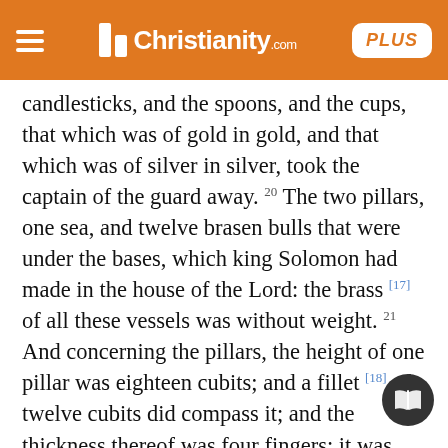Christianity.com PLUS
candlesticks, and the spoons, and the cups, that which was of gold in gold, and that which was of silver in silver, took the captain of the guard away. 20 The two pillars, one sea, and twelve brasen bulls that were under the bases, which king Solomon had made in the house of the Lord: the brass [17] of all these vessels was without weight. 21 And concerning the pillars, the height of one pillar was eighteen cubits; and a fillet [18] of twelve cubits did compass it; and the thickness thereof was four fingers: it was hollow. 22 And a chapiter of brass was upon it; and the height of one chapiter was cubits, with network and pomegranates upon